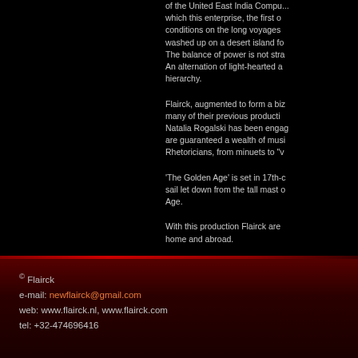of the United East India Compan... which this enterprise, the first c... conditions on the long voyages... washed up on a desert island fo... The balance of power is not stra... An alternation of light-hearted a... hierarchy.
Flairck, augmented to form a biz... many of their previous producti... Natalia Rogalski has been engag... are guaranteed a wealth of musi... Rhetoricians, from minuets to "v...
'The Golden Age' is set in 17th-c... sail let down from the tall mast o... Age.
With this production Flairck are... home and abroad.
© Flairck
e-mail: newflairck@gmail.com
web: www.flairck.nl, www.flairck.com
tel: +32-474696416